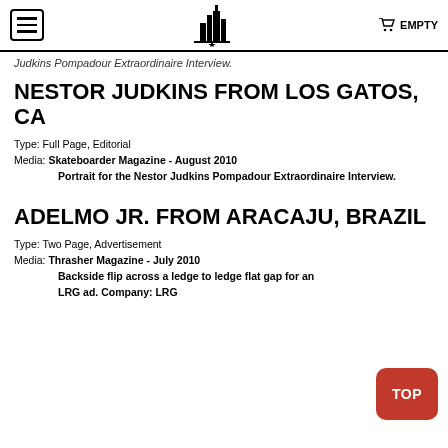EMPTY
Judkins Pompadour Extraordinaire Interview.
NESTOR JUDKINS FROM LOS GATOS, CA
Type: Full Page, Editorial
Media: Skateboarder Magazine - August 2010 Portrait for the Nestor Judkins Pompadour Extraordinaire Interview.
ADELMO JR. FROM ARACAJU, BRAZIL
Type: Two Page, Advertisement
Media: Thrasher Magazine - July 2010 Backside flip across a ledge to ledge flat gap for an LRG ad. Company: LRG